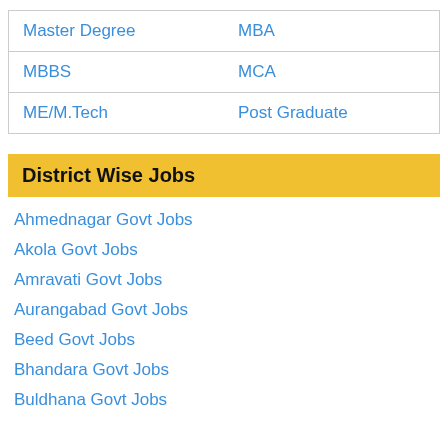| Master Degree | MBA |
| MBBS | MCA |
| ME/M.Tech | Post Graduate |
District Wise Jobs
Ahmednagar Govt Jobs
Akola Govt Jobs
Amravati Govt Jobs
Aurangabad Govt Jobs
Beed Govt Jobs
Bhandara Govt Jobs
Buldhana Govt Jobs